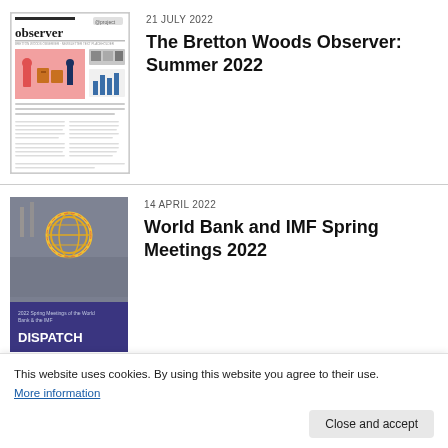[Figure (photo): Thumbnail image of the Bretton Woods Observer newsletter cover, Summer 2022]
21 JULY 2022
The Bretton Woods Observer: Summer 2022
[Figure (photo): Thumbnail image showing crowd and IMF logo with a purple banner reading '2022 Spring Meetings of the World Bank & the IMF DISPATCH']
14 APRIL 2022
World Bank and IMF Spring Meetings 2022
This website uses cookies. By using this website you agree to their use.
More information
Close and accept